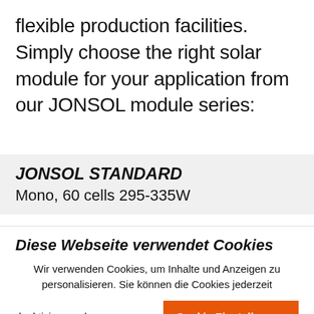flexible production facilities. Simply choose the right solar module for your application from our JONSOL module series:
JONSOL STANDARD
Mono, 60 cells 295-335W
Diese Webseite verwendet Cookies
Wir verwenden Cookies, um Inhalte und Anzeigen zu personalisieren. Sie können die Cookies jederzeit deaktivieren oder anpassen.
Cookie Einstellungen
Akzeptieren
Mehr erfahren